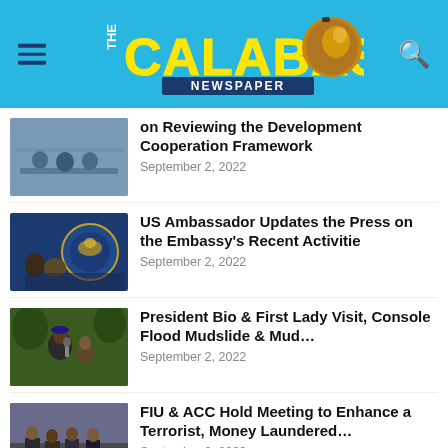[Figure (logo): The Calabash Newspaper logo on a light blue background with hamburger menu icon and search icon]
[Figure (photo): People sitting at conference table, reviewing documents]
on Reviewing the Development Cooperation Framework
September 2, 2022
[Figure (photo): US Ambassador speaking at podium with embassy seal in background]
US Ambassador Updates the Press on the Embassy's Recent Activitie
September 2, 2022
[Figure (photo): President Bio speaking outdoors with crowd behind him]
President Bio & First Lady Visit, Console Flood Mudslide & Mud...
September 2, 2022
[Figure (photo): Group of officials at a meeting holding signs]
FIU & ACC Hold Meeting to Enhance a Terrorist, Money Laundered...
September 2, 2022